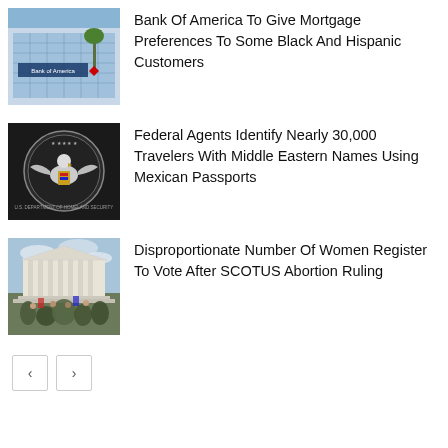[Figure (photo): Bank of America building exterior with sign and red logo]
Bank Of America To Give Mortgage Preferences To Some Black And Hispanic Customers
[Figure (photo): U.S. Department of Homeland Security seal on dark background]
Federal Agents Identify Nearly 30,000 Travelers With Middle Eastern Names Using Mexican Passports
[Figure (photo): Crowd of protesters in front of a government building, appears to be Supreme Court]
Disproportionate Number Of Women Register To Vote After SCOTUS Abortion Ruling